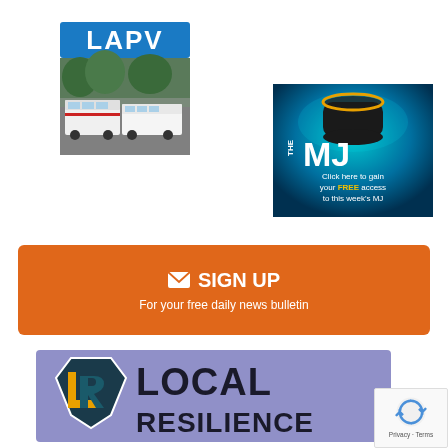[Figure (logo): LAPV logo with white fleet vehicles and blue header reading LAPV]
[Figure (illustration): The MJ advertisement with dark smart speaker, teal background, and text: Click here to gain your FREE access to this week's MJ]
[Figure (other): Orange sign up banner with envelope icon, SIGN UP text, and subtitle: For your free daily news bulletin]
[Figure (logo): Local Resilience logo on purple/lavender background with shield icon containing LR monogram in orange and dark teal]
[Figure (logo): Google reCAPTCHA badge with rotating arrows icon and Privacy - Terms text]